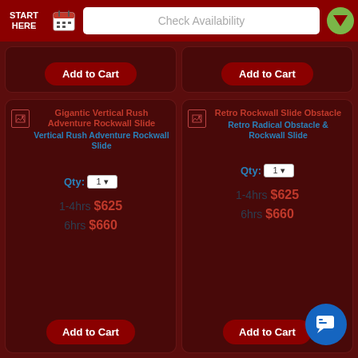START HERE | Check Availability
[Figure (screenshot): Two 'Add to Cart' buttons partially visible at the top of the product grid]
Gigantic Vertical Rush Adventure Rockwall Slide
Vertical Rush Adventure Rockwall Slide
Qty: 1
1-4hrs $625
6hrs $660
Retro Rockwall Slide Obstacle
Retro Radical Obstacle & Rockwall Slide
Qty: 1
1-4hrs $625
6hrs $660
[Figure (screenshot): Two 'Add to Cart' buttons at the bottom of the product cards]